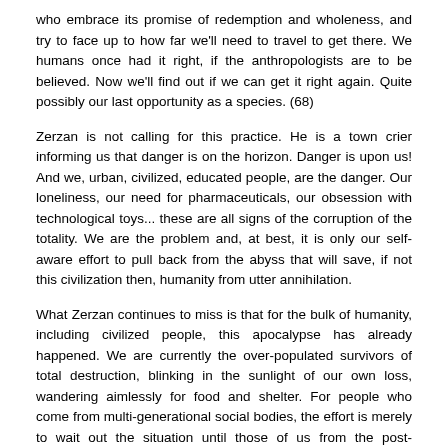who embrace its promise of redemption and wholeness, and try to face up to how far we'll need to travel to get there. We humans once had it right, if the anthropologists are to be believed. Now we'll find out if we can get it right again. Quite possibly our last opportunity as a species. (68)
Zerzan is not calling for this practice. He is a town crier informing us that danger is on the horizon. Danger is upon us! And we, urban, civilized, educated people, are the danger. Our loneliness, our need for pharmaceuticals, our obsession with technological toys... these are all signs of the corruption of the totality. We are the problem and, at best, it is only our self-aware effort to pull back from the abyss that will save, if not this civilization then, humanity from utter annihilation.
What Zerzan continues to miss is that for the bulk of humanity, including civilized people, this apocalypse has already happened. We are currently the over-populated survivors of total destruction, blinking in the sunlight of our own loss, wandering aimlessly for food and shelter. For people who come from multi-generational social bodies, the effort is merely to wait out the situation until those of us from the post-apocalypse find our way to them or fade into memory.